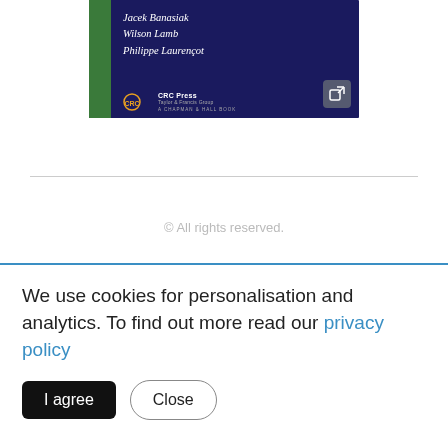[Figure (illustration): Book cover for a CRC Press/Chapman & Hall book with dark navy background, green left stripe. Authors listed: Jacek Banasiak, Wilson Lamb, Philippe Laurençot. CRC Press logo at bottom left with external link button at bottom right.]
© All rights reserved.
Coagulation and fragmentation are of fundamental importance in a vast variety of applications such as aerosol physics, polymerization, blood agglomeration or
We use cookies for personalisation and analytics. To find out more read our privacy policy